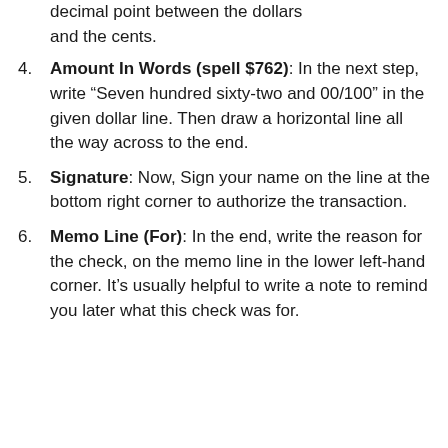(partial) decimal point between the dollars and the cents.
Amount In Words (spell $762): In the next step, write “Seven hundred sixty-two and 00/100” in the given dollar line. Then draw a horizontal line all the way across to the end.
Signature: Now, Sign your name on the line at the bottom right corner to authorize the transaction.
Memo Line (For): In the end, write the reason for the check, on the memo line in the lower left-hand corner. It’s usually helpful to write a note to remind you later what this check was for.